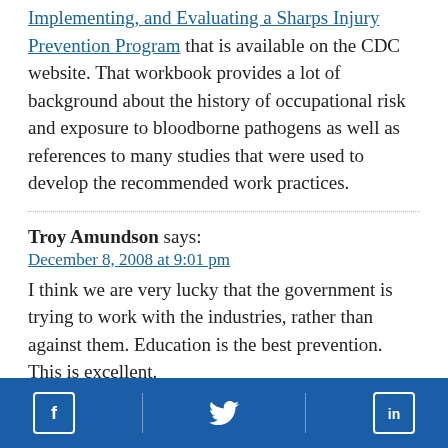Implementing, and Evaluating a Sharps Injury Prevention Program that is available on the CDC website. That workbook provides a lot of background about the history of occupational risk and exposure to bloodborne pathogens as well as references to many studies that were used to develop the recommended work practices.
Troy Amundson says: December 8, 2008 at 9:01 pm I think we are very lucky that the government is trying to work with the industries, rather than against them. Education is the best prevention. This is excellent.
Facebook | Twitter | LinkedIn